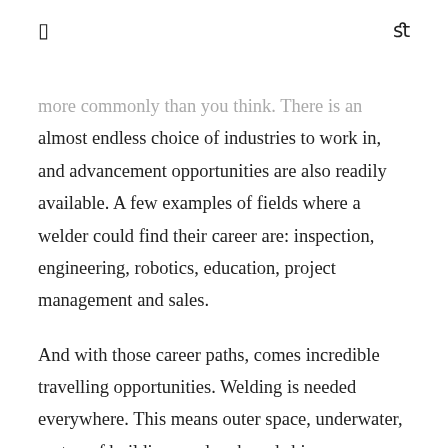[] fl
more commonly than you think. There is an almost endless choice of industries to work in, and advancement opportunities are also readily available. A few examples of fields where a welder could find their career are: inspection, engineering, robotics, education, project management and sales.
And with those career paths, comes incredible travelling opportunities. Welding is needed everywhere. This means outer space, underwater, on top of buildings and on board ships. Travelling jobs pay very well, and openings are many. In fact, there is a small community of welders who live on the road, and who get paid